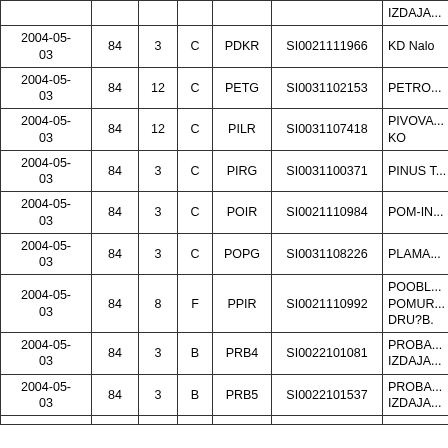| Date |  |  |  |  |  | IZDAJA... |
| --- | --- | --- | --- | --- | --- | --- |
| 2004-05-03 | 84 | 3 | C | PDKR | SI0021111966 | KD Nalo |
| 2004-05-03 | 84 | 12 | C | PETG | SI0031102153 | PETRO... |
| 2004-05-03 | 84 | 12 | C | PILR | SI0031107418 | PIVOVA... KO |
| 2004-05-03 | 84 | 3 | C | PIRG | SI0031100371 | PINUS T... |
| 2004-05-03 | 84 | 3 | C | POIR | SI0021110984 | POM-IN... |
| 2004-05-03 | 84 | 3 | C | POPG | SI0031108226 | PLAMA... |
| 2004-05-03 | 84 | 8 | F | PPIR | SI0021110992 | POOBL... POMUR... DRU?B. |
| 2004-05-03 | 84 | 3 | B | PRB4 | SI0022101081 | PROBA... IZDAJA... |
| 2004-05-03 | 84 | 3 | B | PRB5 | SI0022101537 | PROBA... IZDAJA... |